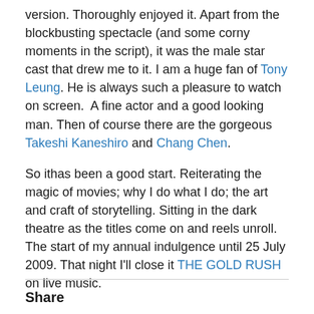version. Thoroughly enjoyed it. Apart from the blockbusting spectacle (and some corny moments in the script), it was the male star cast that drew me to it. I am a huge fan of Tony Leung. He is always such a pleasure to watch on screen.  A fine actor and a good looking man. Then of course there are the gorgeous Takeshi Kaneshiro and Chang Chen.
So ithas been a good start. Reiterating the magic of movies; why I do what I do; the art and craft of storytelling. Sitting in the dark theatre as the titles come on and reels unroll. The start of my annual indulgence until 25 July 2009. That night I'll close it THE GOLD RUSH on live music.
Share